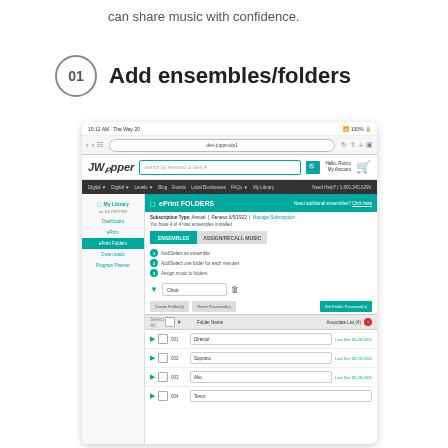can share music with confidence.
01  Add ensembles/folders
[Figure (screenshot): Screenshot of JW Pepper My Library ePrint Folders interface showing ensemble folders (Choir) with folder entries for Director (001), Soprano (002), Alto (003), Tenor (004), with steps: 1. Add/Select an ensemble, 2. Add/Select one folder for each member, 3. Assign music to folders]